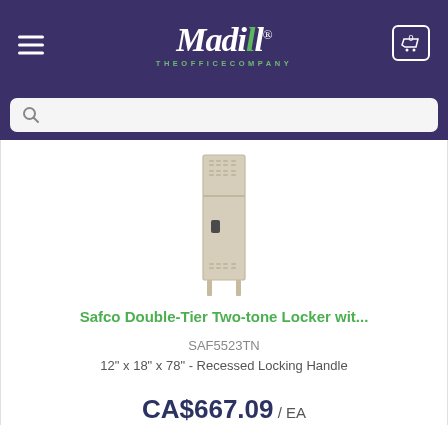Madill The Office Company
[Figure (screenshot): Search bar with magnifying glass icon on purple background]
[Figure (photo): Safco Double-Tier Two-tone metal locker in tan/beige color, tall narrow locker with two compartments and recessed locking handle, shown on white background]
Safco Double-Tier Two-tone Locker wit...
SAF5523TN
12" x 18" x 78" - Recessed Locking Handle
CA$667.09 / EA